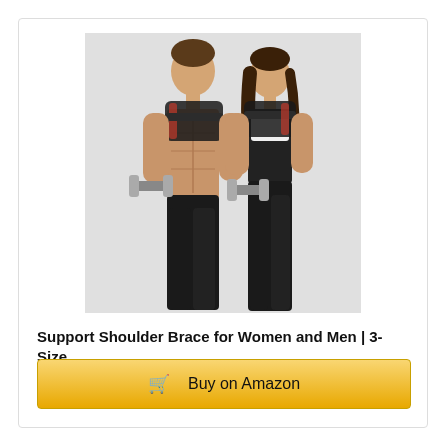[Figure (photo): Two fitness models, a man and a woman, wearing black shoulder support braces. Both are holding dumbbells. The man is shirtless showing shoulder brace on left shoulder; the woman wears a white sports bra with shoulder brace. Background is light grey.]
Support Shoulder Brace for Women and Men | 3-Size...
Buy on Amazon